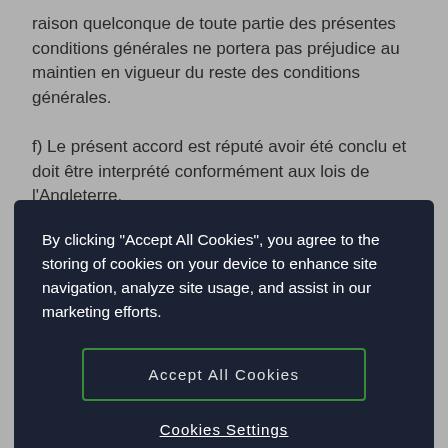raison quelconque de toute partie des présentes conditions générales ne portera pas préjudice au maintien en vigueur du reste des conditions générales.
f) Le présent accord est réputé avoir été conclu et doit être interprété conformément aux lois de l'Angleterre.
g) Aucune responsabilité ne peut être imputée à Gatsonies, ses agents ou employés, en ce qui
By clicking "Accept All Cookies", you agree to the storing of cookies on your device to enhance site navigation, analyze site usage, and assist in our marketing efforts.
Accept All Cookies
Cookies Settings
i) Les parties n'entendent pas à